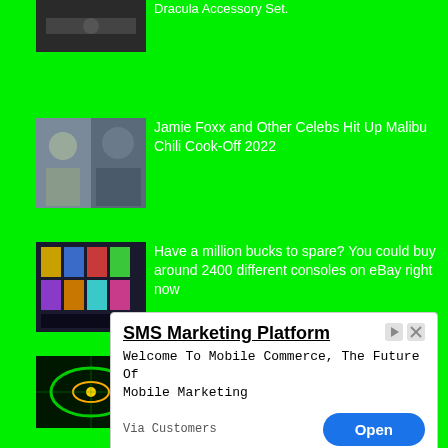[Figure (photo): Dracula accessory set product image thumbnail (partially visible at top)]
Dracula Accessory Set.
[Figure (photo): Jamie Foxx and other celebrities at Malibu Chili Cook-Off 2022 thumbnail]
Jamie Foxx and Other Celebs Hit Up Malibu Chili Cook-Off 2022
[Figure (photo): Video game consoles on eBay shelves thumbnail]
Have a million bucks to spare? You could buy around 2400 different consoles on eBay right now
[Figure (photo): Green laser/turbulence scientific image thumbnail]
Results of a New Study Could Finally Give Us ‘Timetables’ for Turbulence
[Figure (photo): Tech/laptop thumbnail partially visible]
UK closely probing four tech firms over
SMS Marketing Platform
Welcome To Mobile Commerce, The Future Of Mobile Marketing
Via Customers
Open